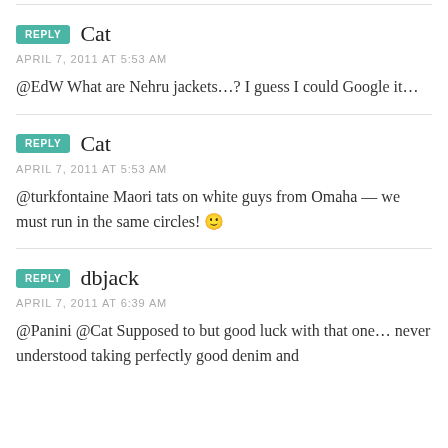REPLY  Cat
APRIL 7, 2011 AT 5:53 AM
@EdW What are Nehru jackets…? I guess I could Google it…
REPLY  Cat
APRIL 7, 2011 AT 5:53 AM
@turkfontaine Maori tats on white guys from Omaha — we must run in the same circles! 🙂
REPLY  dbjack
APRIL 7, 2011 AT 6:39 AM
@Panini @Cat Supposed to but good luck with that one… never understood taking perfectly good denim and